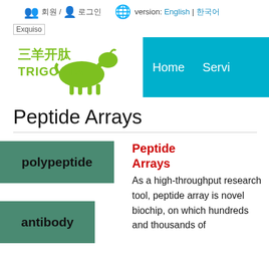version: English | 한국어
[Figure (logo): Exquiso placeholder image and Trigoats logo with leaping goat silhouette and Chinese characters 三羊开肽]
[Figure (screenshot): Navigation bar with Home and Services links on teal background]
Peptide Arrays
polypeptide
antibody
Peptide Arrays
As a high-throughput research tool, peptide array is novel biochip, on which hundreds and thousands of